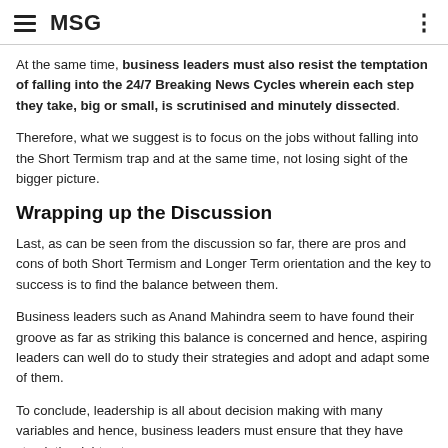MSG
At the same time, business leaders must also resist the temptation of falling into the 24/7 Breaking News Cycles wherein each step they take, big or small, is scrutinised and minutely dissected.
Therefore, what we suggest is to focus on the jobs without falling into the Short Termism trap and at the same time, not losing sight of the bigger picture.
Wrapping up the Discussion
Last, as can be seen from the discussion so far, there are pros and cons of both Short Termism and Longer Term orientation and the key to success is to find the balance between them.
Business leaders such as Anand Mahindra seem to have found their groove as far as striking this balance is concerned and hence, aspiring leaders can well do to study their strategies and adopt and adapt some of them.
To conclude, leadership is all about decision making with many variables and hence, business leaders must ensure that they have struck the right note.